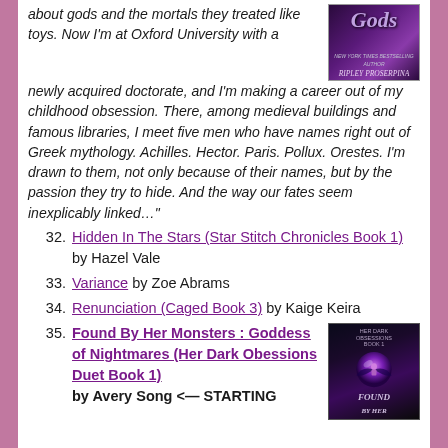about gods and the mortals they treated like toys. Now I'm at Oxford University with a newly acquired doctorate, and I'm making a career out of my childhood obsession. There, among medieval buildings and famous libraries, I meet five men who have names right out of Greek mythology. Achilles. Hector. Paris. Pollux. Orestes. I'm drawn to them, not only because of their names, but by the passion they try to hide. And the way our fates seem inexplicably linked…"
[Figure (illustration): Book cover with dark purple background showing decorative text 'GODS' and author name Ripley Proserpina]
32. Hidden In The Stars (Star Stitch Chronicles Book 1) by Hazel Vale
33. Variance by Zoe Abrams
34. Renunciation (Caged Book 3) by Kaige Keira
35. Found By Her Monsters : Goddess of Nightmares (Her Dark Obessions Duet Book 1) by Avery Song <— STARTING
[Figure (illustration): Book cover for 'Found By Her Monsters' showing dark fantasy art with glowing orb and winged figure]